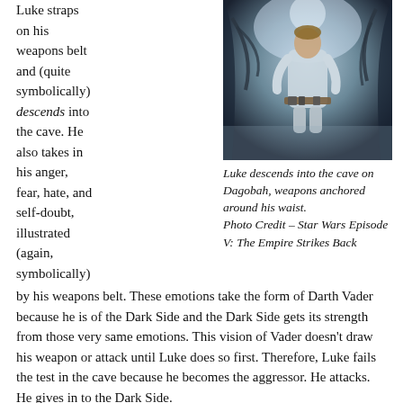Luke straps on his weapons belt and (quite symbolically) descends into the cave. He also takes in his anger, fear, hate, and self-doubt, illustrated (again, symbolically)
[Figure (photo): Luke descending into the cave on Dagobah, wearing white outfit with weapons belt around his waist, dark mysterious cave background]
Luke descends into the cave on Dagobah, weapons anchored around his waist. Photo Credit – Star Wars Episode V: The Empire Strikes Back
by his weapons belt. These emotions take the form of Darth Vader because he is of the Dark Side and the Dark Side gets its strength from those very same emotions. This vision of Vader doesn't draw his weapon or attack until Luke does so first. Therefore, Luke fails the test in the cave because he becomes the aggressor. He attacks. He gives in to the Dark Side.